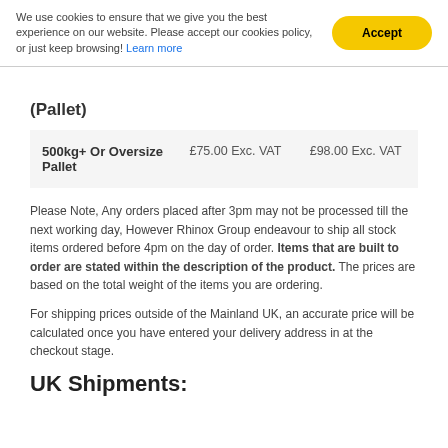We use cookies to ensure that we give you the best experience on our website. Please accept our cookies policy, or just keep browsing! Learn more
(Pallet)
|  | Standard | Highland |
| --- | --- | --- |
| 500kg+ Or Oversize Pallet | £75.00 Exc. VAT | £98.00 Exc. VAT |
Please Note, Any orders placed after 3pm may not be processed till the next working day, However Rhinox Group endeavour to ship all stock items ordered before 4pm on the day of order. Items that are built to order are stated within the description of the product. The prices are based on the total weight of the items you are ordering.
For shipping prices outside of the Mainland UK, an accurate price will be calculated once you have entered your delivery address in at the checkout stage.
UK Shipments: